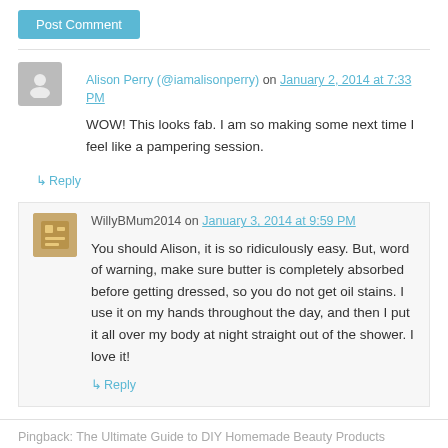Post Comment
Alison Perry (@iamalisonperry) on January 2, 2014 at 7:33 PM
WOW! This looks fab. I am so making some next time I feel like a pampering session.
↳ Reply
WillyBMum2014 on January 3, 2014 at 9:59 PM
You should Alison, it is so ridiculously easy. But, word of warning, make sure butter is completely absorbed before getting dressed, so you do not get oil stains. I use it on my hands throughout the day, and then I put it all over my body at night straight out of the shower. I love it!
↳ Reply
Pingback: The Ultimate Guide to DIY Homemade Beauty Products